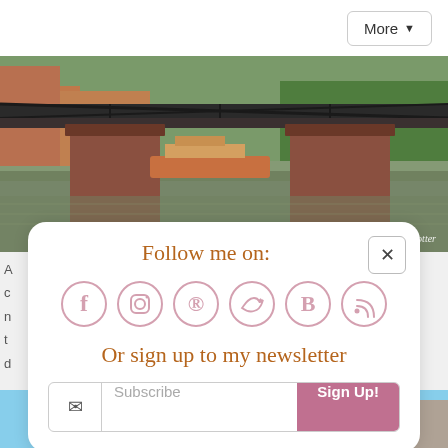[Figure (screenshot): More button/dropdown in top-right corner of a webpage]
[Figure (photo): A bridge over a river with brick pillars and iron railings, with a watermark reading 'Catglobetrotter' in the bottom right]
[Figure (screenshot): A follow me popup card with social media icons (Facebook, Instagram, Pinterest, Twitter, Bloglovin, RSS), a newsletter signup field with Subscribe placeholder and Sign Up! button, and a close (x) button. Title: Follow me on:. Also includes text: Or sign up to my newsletter]
[Figure (photo): Bottom strip showing a street lamp post against a blue sky]